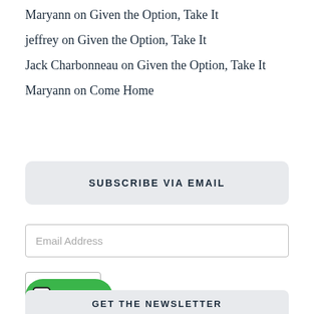Maryann on Given the Option, Take It
jeffrey on Given the Option, Take It
Jack Charbonneau on Given the Option, Take It
Maryann on Come Home
SUBSCRIBE VIA EMAIL
Email Address
Subscribe
[Figure (illustration): Green pill-shaped Tip Me button with a Ko-fi cup icon showing a heart]
GET THE NEWSLETTER